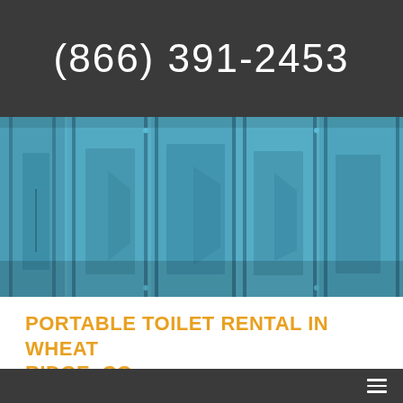(866) 391-2453
[Figure (photo): Close-up photograph of blue portable toilet doors/panels with vertical ridges and structural lines.]
PORTABLE TOILET RENTAL IN WHEAT RIDGE, CO
If you are organizing a big event like an outdoor wedding or construction project, it's time to think about renting porta potties in Wheat Ridge so your people have somewhere to go when nature calls.